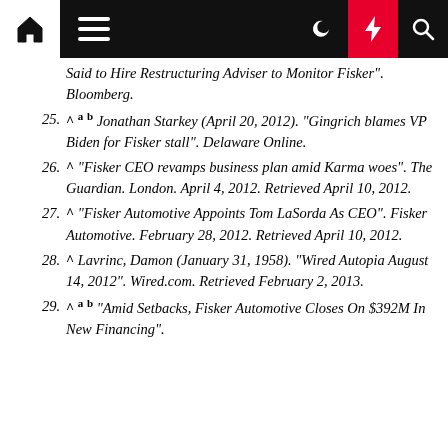Navigation bar with home, menu, dark mode, lightning, search icons
Said to Hire Restructuring Adviser to Monitor Fisker". Bloomberg.
25. ^ a b Jonathan Starkey (April 20, 2012). "Gingrich blames VP Biden for Fisker stall". Delaware Online.
26. ^ "Fisker CEO revamps business plan amid Karma woes". The Guardian. London. April 4, 2012. Retrieved April 10, 2012.
27. ^ "Fisker Automotive Appoints Tom LaSorda As CEO". Fisker Automotive. February 28, 2012. Retrieved April 10, 2012.
28. ^ Lavrinc, Damon (January 31, 1958). "Wired Autopia August 14, 2012". Wired.com. Retrieved February 2, 2013.
29. ^ a b "Amid Setbacks, Fisker Automotive Closes On $392M In New Financing".